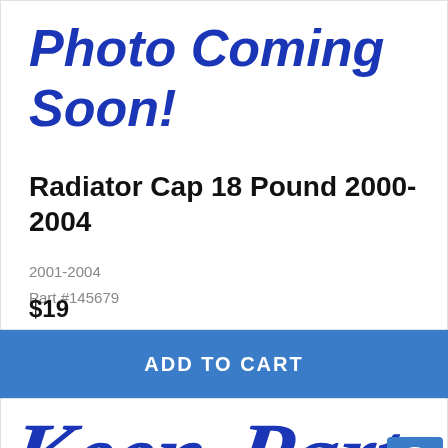[Figure (illustration): Photo Coming Soon placeholder image with italic bold blue text on white background]
Radiator Cap 18 Pound 2000-2004
2001-2004
Part #145679
$19
ADD TO CART
[Figure (logo): Keen Parts cursive signature logo in blue on white background]